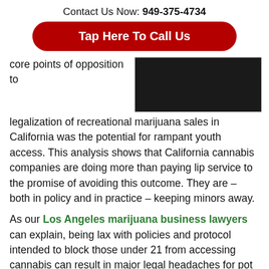Contact Us Now: 949-375-4734
Tap Here To Call Us
core points of opposition to legalization of recreational marijuana sales in California was the potential for rampant youth access. This analysis shows that California cannabis companies are doing more than paying lip service to the promise of avoiding this outcome. They are – both in policy and in practice – keeping minors away.
[Figure (photo): Dark photograph of a person, partially visible]
As our Los Angeles marijuana business lawyers can explain, being lax with policies and protocol intended to block those under 21 from accessing cannabis can result in major legal headaches for pot shops. Adults over 21 can